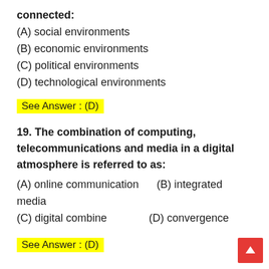connected:
(A) social environments
(B) economic environments
(C) political environments
(D) technological environments
See Answer : (D)
19. The combination of computing, telecommunications and media in a digital atmosphere is referred to as:
(A) online communication    (B) integrated media
(C) digital combine    (D) convergence
See Answer : (D)